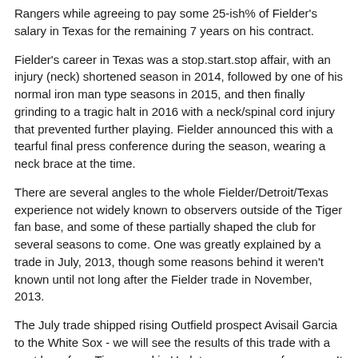Rangers while agreeing to pay some 25-ish% of Fielder's salary in Texas for the remaining 7 years on his contract.
Fielder's career in Texas was a stop.start.stop affair, with an injury (neck) shortened season in 2014, followed by one of his normal iron man type seasons in 2015, and then finally grinding to a tragic halt in 2016 with a neck/spinal cord injury that prevented further playing. Fielder announced this with a tearful final press conference during the season, wearing a neck brace at the time.
There are several angles to the whole Fielder/Detroit/Texas experience not widely known to observers outside of the Tiger fan base, and some of these partially shaped the club for several seasons to come. One was greatly explained by a trade in July, 2013, though some reasons behind it weren't known until not long after the Fielder trade in November, 2013.
The July trade shipped rising Outfield prospect Avisail Garcia to the White Sox - we will see the results of this trade with a post here for a Tigers card in Update, many years from now. It was widely rumored that a major downer for Fielder, in 2013, was off-field marital problems involving one of his own team-mates. This culminated in a clubhouse fight between him and Garcia, which also became his Minor Col...